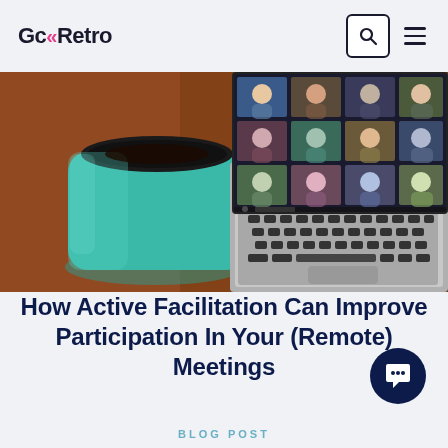GcRetro
[Figure (photo): A green ceramic mug filled with dark coffee sitting on a wooden table next to an open MacBook laptop displaying a video conference call with multiple participants in a grid layout.]
How Active Facilitation Can Improve Participation In Your (Remote) Meetings
BLOG POST